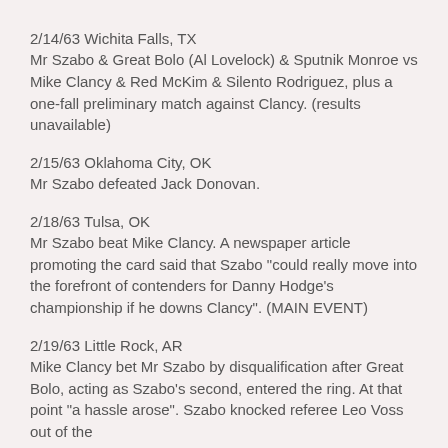2/14/63 Wichita Falls, TX
Mr Szabo & Great Bolo (Al Lovelock) & Sputnik Monroe vs Mike Clancy & Red McKim & Silento Rodriguez, plus a one-fall preliminary match against Clancy. (results unavailable)
2/15/63 Oklahoma City, OK
Mr Szabo defeated Jack Donovan.
2/18/63 Tulsa, OK
Mr Szabo beat Mike Clancy. A newspaper article promoting the card said that Szabo "could really move into the forefront of contenders for Danny Hodge's championship if he downs Clancy". (MAIN EVENT)
2/19/63 Little Rock, AR
Mike Clancy bet Mr Szabo by disqualification after Great Bolo, acting as Szabo's second, entered the ring. At that point "a hassle arose". Szabo knocked referee Leo Voss out of the